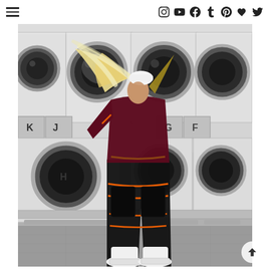Navigation bar with hamburger menu and social media icons: Instagram, YouTube, Facebook, Tumblr, Pinterest, Polyvore/Heart, Twitter
[Figure (photo): Fashion editorial photo of a woman with long blonde hair tossing her head, wearing a dark burgundy/maroon crop jacket and black cargo pants with orange stripe accents, white chunky platform boots, standing in front of commercial laundromat washing machines. The background shows rows of front-loading white commercial washers with dark porthole windows.]